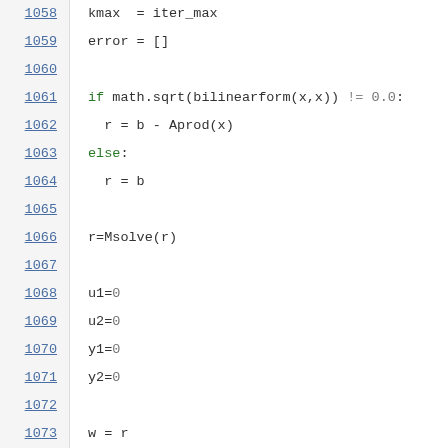1058    kmax  = iter_max
1059    error = []
1060
1061    if math.sqrt(bilinearform(x,x)) != 0.0:
1062      r = b - Aprod(x)
1063    else:
1064      r = b
1065
1066    r=Msolve(r)
1067
1068    u1=0
1069    u2=0
1070    y1=0
1071    y2=0
1072
1073    w = r
1074    y1 = r
1075    iter = 0
1076    d = 0
1077
1078    v = Msolve(Aprod(y1))
1079    u1 = v